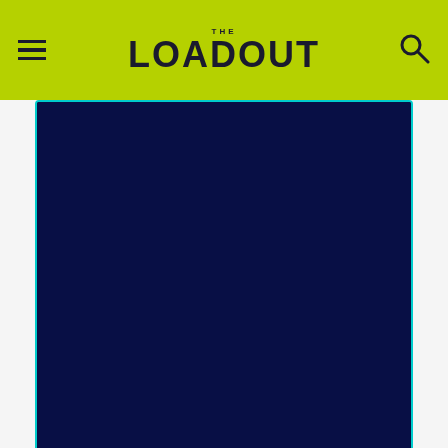THE LOADOUT
[Figure (screenshot): Dark navy blue survey embed block with cyan border, showing 5,405 participants and a Privacy policy link at the bottom]
5,405 participants
Privacy policy
Recommended Stories
[Figure (screenshot): Video ad overlay for NVIDIA RTX 4080 with MW logo, play button, and text NVIDIA RTX 4080 EVERYTHING WE KNOW on dark background]
[Figure (photo): Partially visible image strip at the bottom, showing purplish/mauve tones]